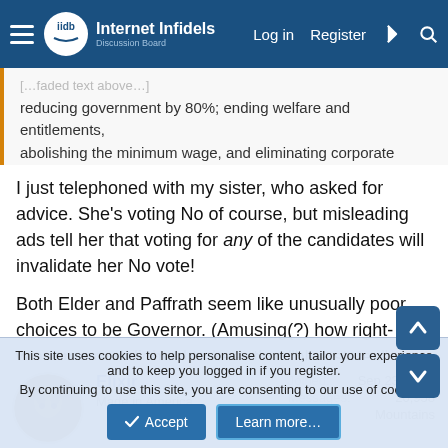Internet Infidels — Log in  Register
reducing government by 80%; ending welfare and entitlements, abolishing the minimum wage, and eliminating corporate taxes.
I just telephoned with my sister, who asked for advice. She's voting No of course, but misleading ads tell her that voting for any of the candidates will invalidate her No vote!

Both Elder and Paffrath seem like unusually poor choices to be Governor. (Amusing(?) how right-wingers are delighted to hear that "blue states" might get incompetent government.)
Elixir
Made in America
Joined: Sep 23, 2012
Messages: 20,958
Location: Mountains
This site uses cookies to help personalise content, tailor your experience and to keep you logged in if you register.
By continuing to use this site, you are consenting to our use of cookies.